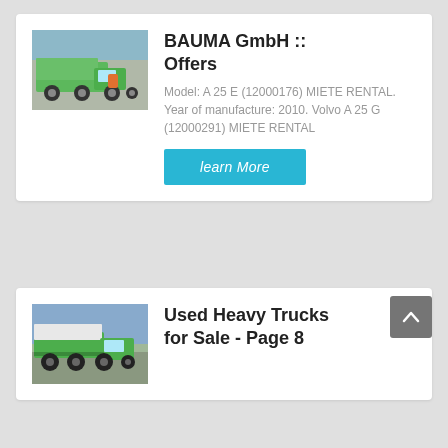[Figure (photo): Green dump truck / tipper truck parked outdoors near a building]
BAUMA GmbH :: Offers
Model: A 25 E (12000176) MIETE RENTAL. Year of manufacture: 2010. Volvo A 25 G (12000291) MIETE RENTAL
learn More
[Figure (photo): Green heavy dump truck parked outdoors]
Used Heavy Trucks for Sale - Page 8